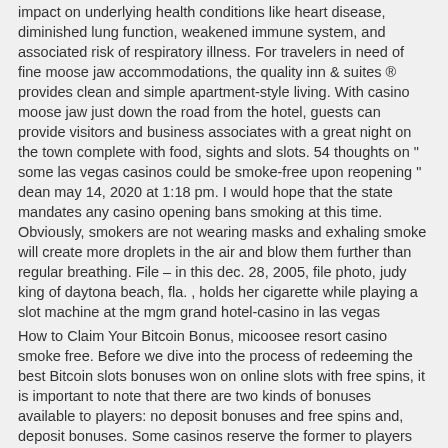impact on underlying health conditions like heart disease, diminished lung function, weakened immune system, and associated risk of respiratory illness. For travelers in need of fine moose jaw accommodations, the quality inn & suites ® provides clean and simple apartment-style living. With casino moose jaw just down the road from the hotel, guests can provide visitors and business associates with a great night on the town complete with food, sights and slots. 54 thoughts on " some las vegas casinos could be smoke-free upon reopening " dean may 14, 2020 at 1:18 pm. I would hope that the state mandates any casino opening bans smoking at this time. Obviously, smokers are not wearing masks and exhaling smoke will create more droplets in the air and blow them further than regular breathing. File – in this dec. 28, 2005, file photo, judy king of daytona beach, fla. , holds her cigarette while playing a slot machine at the mgm grand hotel-casino in las vegas
How to Claim Your Bitcoin Bonus, micoosee resort casino smoke free. Before we dive into the process of redeeming the best Bitcoin slots bonuses won on online slots with free spins, it is important to note that there are two kinds of bonuses available to players: no deposit bonuses and free spins and, deposit bonuses. Some casinos reserve the former to players who create accounts and want to play the best Bitcoin slots bonuses without necessarily depositing Bitcoins in their gaming accounts. How to stop hacker of the slot machine, how to make money in caesars slots app Here are two